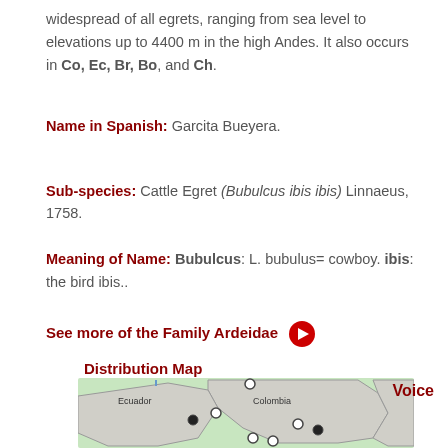widespread of all egrets, ranging from sea level to elevations up to 4400 m in the high Andes. It also occurs in Co, Ec, Br, Bo, and Ch.
Name in Spanish: Garcita Bueyera.
Sub-species: Cattle Egret (Bubulcus ibis ibis) Linnaeus, 1758.
Meaning of Name: Bubulcus: L. bubulus= cowboy. ibis: the bird ibis..
See more of the Family Ardeidae
Distribution Map
[Figure (map): Distribution map showing Ecuador and Colombia with location markers (filled and open circles) indicating species occurrences.]
Voice